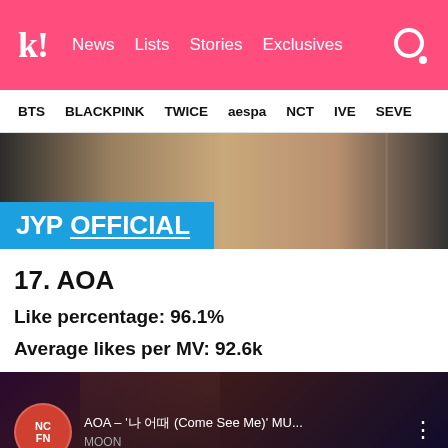Koreaboo — News, Lists, Stories, Exclusives
BTS  BLACKPINK  TWICE  aespa  NCT  IVE  SEVE
[Figure (screenshot): JYP Official YouTube channel banner thumbnail showing people near a car with JYP OFFICIAL logo overlay]
17. AOA
Like percentage: 96.1%
Average likes per MV: 92.6k
[Figure (screenshot): YouTube video thumbnail for AOA – '나 어때 (Come See Me)' MU... with NCN channel icon and MOON text visible]